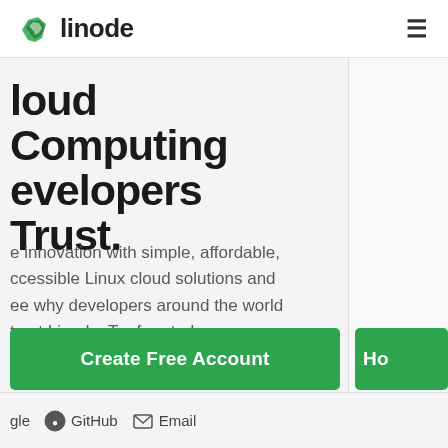linode
Cloud Computing Developers Trust.
e innovation with simple, affordable, ccessible Linux cloud solutions and ee why developers around the world trust Linode. Try free today.
R
Develo managing simple bu
Create Free Account
Ho
gle   GitHub   Email